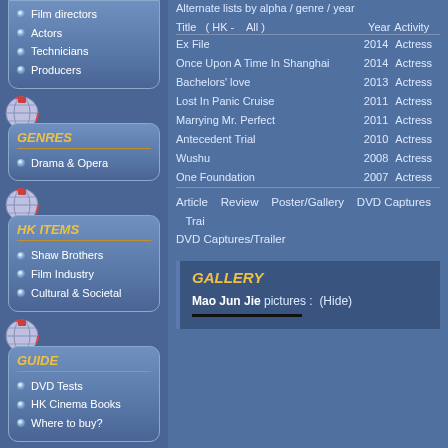Film directors
Actors
Technicians
Producers
GENRES
Drama & Opera
HK ITEMS
Shaw Brothers
Film Industry
Cultural & Societal
GUIDE
DVD Tests
HK Cinema Books
Where to buy?
GOODIES
OST & Music
Alternate lists by alpha / genre / year
| Title  ( HK -  All ) | Year | Activity |
| --- | --- | --- |
| Ex File | 2014 | Actress |
| Once Upon A Time In Shanghai | 2014 | Actress |
| Bachelors' love | 2013 | Actress |
| Lost In Panic Cruise | 2011 | Actress |
| Marrying Mr. Perfect | 2011 | Actress |
| Antecedent Trial | 2010 | Actress |
| Wushu | 2008 | Actress |
| One Foundation | 2007 | Actress |
Article  Review  Poster/Gallery  DVD Captures  Trai  DVD Captures/Trailer
GALLERY
Mao Jun Jie pictures :  (Hide)